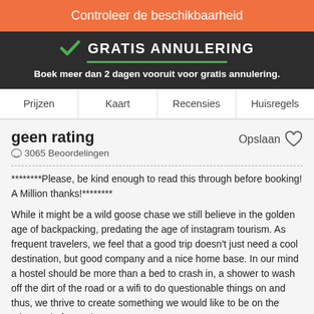Controleer de beschikbaarheid
GRATIS ANNULERING
Boek meer dan 2 dagen vooruit voor gratis annulering.
Prijzen  Kaart  Recensies  Huisregels
geen rating
3065 Beoordelingen
Opslaan
********Please, be kind enough to read this through before booking! A Million thanks!********
While it might be a wild goose chase we still believe in the golden age of backpacking, predating the age of instagram tourism. As frequent travelers, we feel that a good trip doesn't just need a cool destination, but good company and a nice home base. In our mind a hostel should be more than a bed to crash in, a shower to wash off the dirt of the road or a wifi to do questionable things on and thus, we thrive to create something we would like to be on the other end of ourselves..